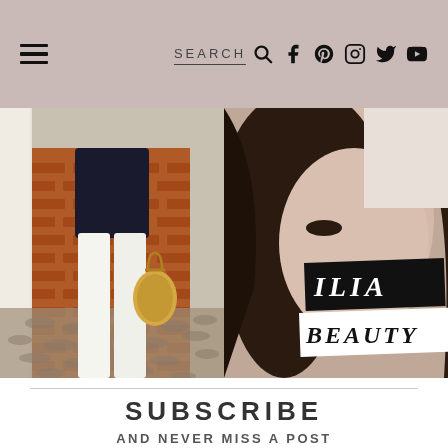SEARCH | Social icons: Facebook, Pinterest, Instagram, Twitter, YouTube
[Figure (photo): Person in white pants holding a woven bag standing in front of a red brick wall]
[Figure (photo): Closeup of a woman's face with text overlay reading 'ILIA BEAUTY']
SUBSCRIBE
AND NEVER MISS A POST